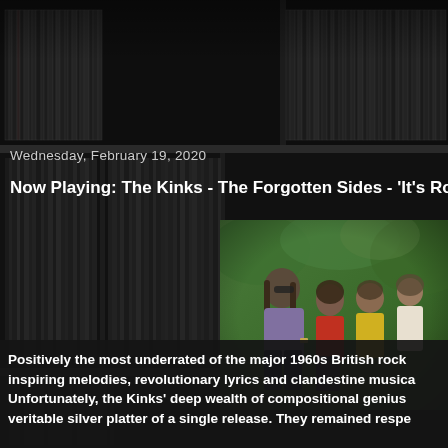[Figure (photo): Dark background showing bookshelves/record shelves filled with vinyl records, forming the page background]
Wednesday, February 19, 2020
Now Playing: The Kinks - The Forgotten Sides - 'It's Ro...
[Figure (photo): Color photograph of The Kinks band members sitting outdoors on grass, with lush greenery behind them. Members wearing colorful 1970s-style clothing.]
Positively the most underrated of the major 1960s British rock inspiring melodies, revolutionary lyrics and clandestine musica Unfortunately, the Kinks' deep wealth of compositional genius veritable silver platter of a single release. They remained respe